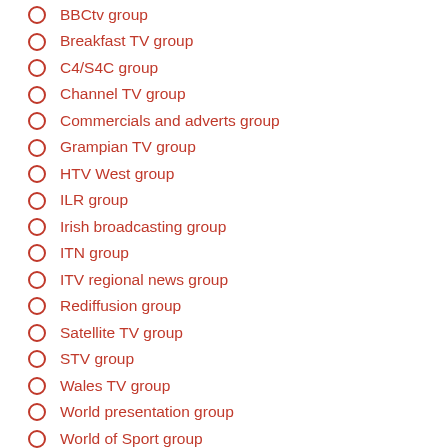BBCtv group
Breakfast TV group
C4/S4C group
Channel TV group
Commercials and adverts group
Grampian TV group
HTV West group
ILR group
Irish broadcasting group
ITN group
ITV regional news group
Rediffusion group
Satellite TV group
STV group
Wales TV group
World presentation group
World of Sport group
1960s group